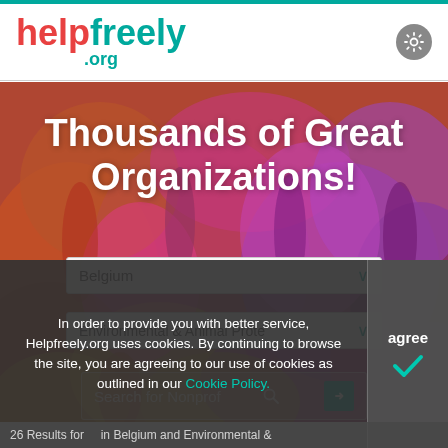helpfreely .org
[Figure (photo): Colorful crowd of people celebrating with colored powder, Holi festival style, blurred background]
Thousands of Great Organizations!
Belgium (dropdown selector)
Environmental & Animal Prote (dropdown selector)
Search for Nonprof (search bar)
In order to provide you with better service, Helpfreely.org uses cookies. By continuing to browse the site, you are agreeing to our use of cookies as outlined in our Cookie Policy.
agree
26 Results for    in Belgium and Environmental &